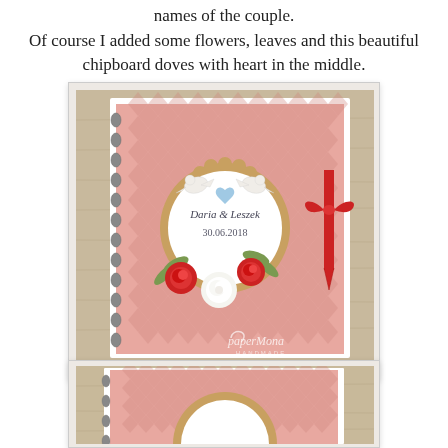names of the couple. Of course I added some flowers, leaves and this beautiful chipboard doves with heart in the middle.
[Figure (photo): A handmade wedding scrapbook/guest book with a pink patterned cover, spiral binding on the left, a decorative scalloped circular label reading 'Daria & Leszek 30.06.2018' with two white dove chipboard decorations, red and white paper flowers with green leaves, and a red ribbon tied on the right side. Watermark reads 'paperMona HANDMADE'.]
[Figure (photo): Close-up partial view of the same pink patterned scrapbook cover with spiral binding visible on the left and a partial view of the decorative scalloped label.]